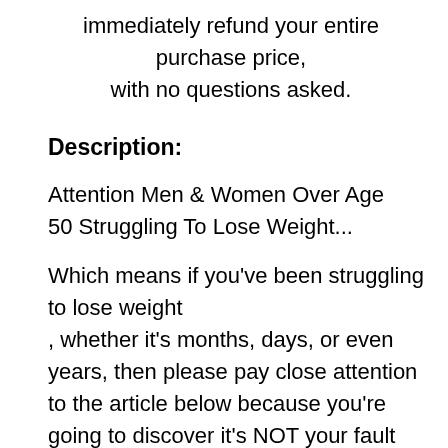immediately refund your entire purchase price, with no questions asked.
Description:
Attention Men & Women Over Age 50 Struggling To Lose Weight...
Which means if you've been struggling to lose weight , whether it's months, days, or even years, then please pay close attention to the article below because you're going to discover it's NOT your fault
...